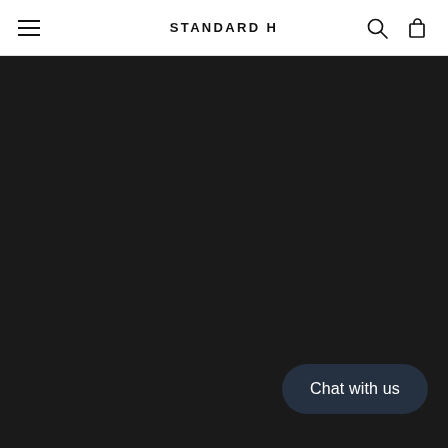STANDARD H
[Figure (screenshot): Dark background area filling the main content area of the page]
Chat with us